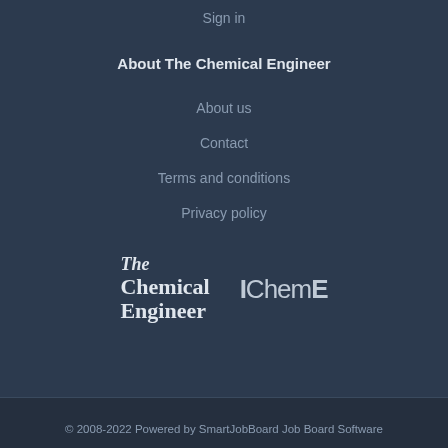Sign in
About The Chemical Engineer
About us
Contact
Terms and conditions
Privacy policy
[Figure (logo): The Chemical Engineer logo (serif italic 'The' above bold 'Chemical Engineer') alongside IChemE logo]
© 2008-2022 Powered by SmartJobBoard Job Board Software